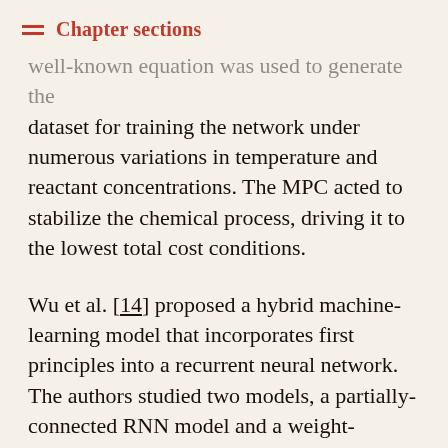Chapter sections
well-known equation was used to generate the dataset for training the network under numerous variations in temperature and reactant concentrations. The MPC acted to stabilize the chemical process, driving it to the lowest total cost conditions.
Wu et al. [14] proposed a hybrid machine-learning model that incorporates first principles into a recurrent neural network. The authors studied two models, a partially-connected RNN model and a weight-constrained RNN model and applied them to a chemical process containing two well-mixed, non- isothermal continuous stirred tank reactors in series. The two proposed models outperformed a Lyapunov-based model predictive controller based on prediction accuracy, smoother state trajectories